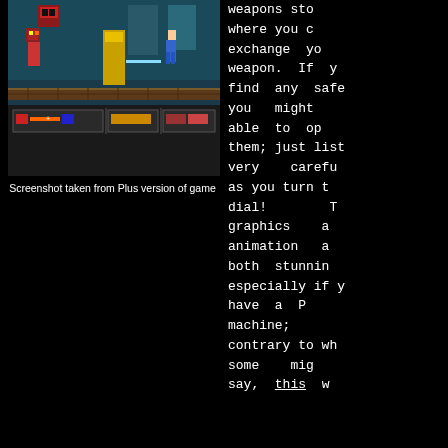[Figure (screenshot): Screenshot of a side-scrolling action game showing pixel art characters in a factory/sci-fi environment with health bars and weapon indicators at the bottom. Screenshot taken from Plus version of game.]
Screenshot taken from Plus version of game
weapons sto where you c exchange yo weapon. If y find any safe you might able to op them; just list very carefu as you turn t dial! T graphics a animation a both stunnin especially if y have a P machine; contrary to wh some mig say, this w